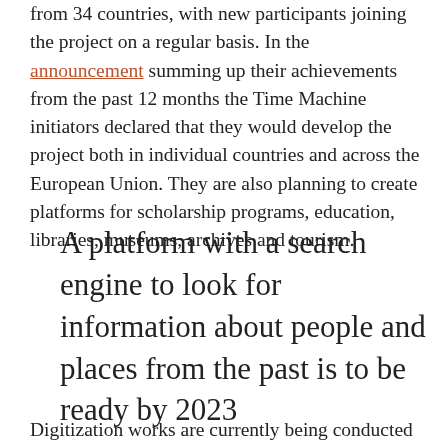from 34 countries, with new participants joining the project on a regular basis. In the announcement summing up their achievements from the past 12 months the Time Machine initiators declared that they would develop the project both in individual countries and across the European Union. They are also planning to create platforms for scholarship programs, education, libraries, museums, archives and tourism.
A platform with a search engine to look for information about people and places from the past is to be ready by 2023
Digitization works are currently being conducted by